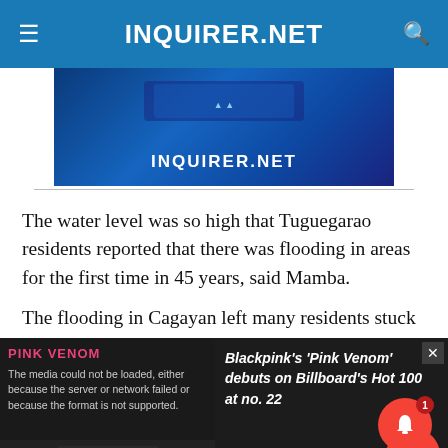INQUIRER.NET
[Figure (advertisement): INQUIRER.NET advertisement banner with blue digital background and devices]
The water level was so high that Tuguegarao residents reported that there was flooding in areas for the first time in 45 years, said Mamba.
The flooding in Cagayan left many residents stuck
[Figure (screenshot): Video player overlay showing PINK VENOM text, media load error message, and Blackpink's 'Pink Venom' debuts on Billboard's Hot 100 at no. 22 sidebar. X close button and notification button visible.]